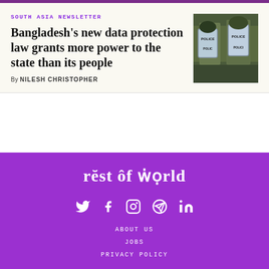SOUTH ASIA NEWSLETTER
Bangladesh's new data protection law grants more power to the state than its people
By NILESH CHRISTOPHER
[Figure (photo): Police officers in riot gear holding shields labeled POLICE]
[Figure (logo): Rest of World logo in white on purple background]
ABOUT US
JOBS
PRIVACY POLICY